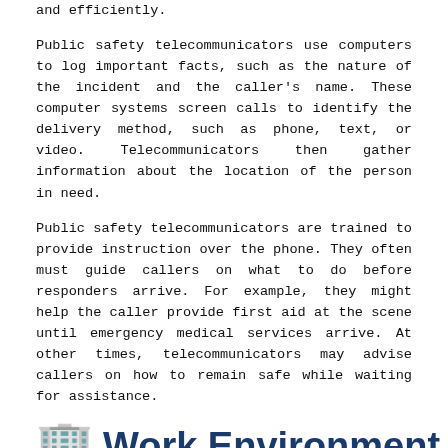and efficiently.
Public safety telecommunicators use computers to log important facts, such as the nature of the incident and the caller's name. These computer systems screen calls to identify the delivery method, such as phone, text, or video. Telecommunicators then gather information about the location of the person in need.
Public safety telecommunicators are trained to provide instruction over the phone. They often must guide callers on what to do before responders arrive. For example, they might help the caller provide first aid at the scene until emergency medical services arrive. At other times, telecommunicators may advise callers on how to remain safe while waiting for assistance.
Work Environment for Public Safety Telecommunicators
Within the U.S. Tele...